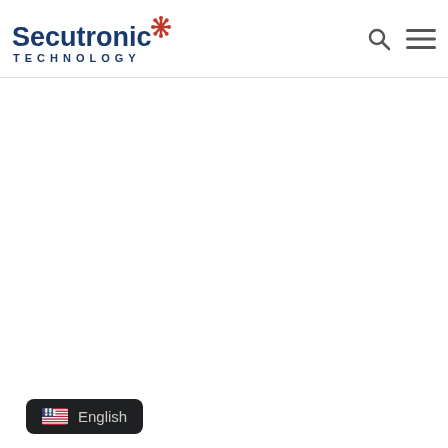Secutronic TECHNOLOGY
[Figure (logo): Secutronic Technology logo with dark blue text and red asterisk/snowflake icon, with TECHNOLOGY subtitle in letter-spaced capitals]
[Figure (other): Search icon (magnifying glass) and hamburger menu icon in top right navigation area]
[Figure (other): Language switcher widget showing US flag and English text on dark rounded rectangle background at bottom left]